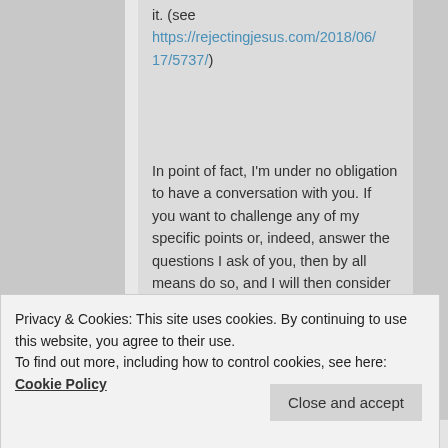it. (see https://rejectingjesus.com/2018/06/17/5737/)
In point of fact, I'm under no obligation to have a conversation with you. If you want to challenge any of my specific points or, indeed, answer the questions I ask of you, then by all means do so, and I will then consider responding further. If you find your faith to be so fragile that you're unable to do so, then I guess it'll have to be
Privacy & Cookies: This site uses cookies. By continuing to use this website, you agree to their use.
To find out more, including how to control cookies, see here: Cookie Policy
Close and accept